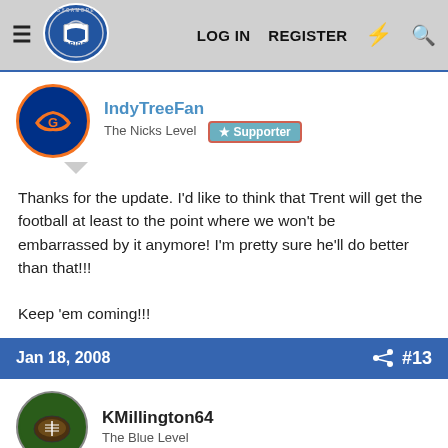Sycamore Pride — LOG IN  REGISTER
IndyTreeFan
The Nicks Level  Supporter
Thanks for the update. I'd like to think that Trent will get the football at least to the point where we won't be embarrassed by it anymore! I'm pretty sure he'll do better than that!!!

Keep 'em coming!!!
Jan 18, 2008  #13
KMillington64
The Blue Level
I think the world of Coach Miles and what he has done thus far.